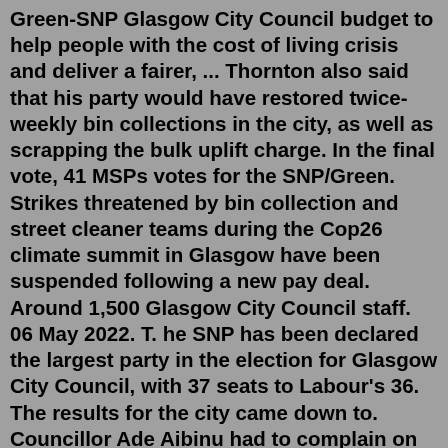Green-SNP Glasgow City Council budget to help people with the cost of living crisis and deliver a fairer, ... Thornton also said that his party would have restored twice-weekly bin collections in the city, as well as scrapping the bulk uplift charge. In the final vote, 41 MSPs votes for the SNP/Green. Strikes threatened by bin collection and street cleaner teams during the Cop26 climate summit in Glasgow have been suspended following a new pay deal. Around 1,500 Glasgow City Council staff. 06 May 2022. T. he SNP has been declared the largest party in the election for Glasgow City Council, with 37 seats to Labour's 36. The results for the city came down to. Councillor Ade Aibinu had to complain on behalf of his constituent over collection delay. A frustrated Glasgow resident was left waiting an "unacceptable" eight months for a recycling bin to be. Councillor Ade Aibinu had to complain on behalf of his constituent over collection delay. A frustrated Glasgow resident was left waiting an "unacceptable" eight months for a recycling bin to be. Glasgow waste bosses promise a